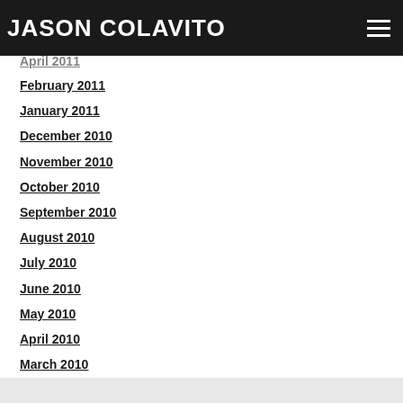JASON COLAVITO
April 2011
February 2011
January 2011
December 2010
November 2010
October 2010
September 2010
August 2010
July 2010
June 2010
May 2010
April 2010
March 2010
February 2010
RSS Feed